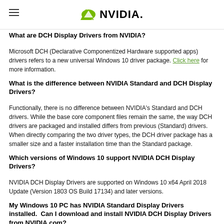NVIDIA
What are DCH Display Drivers from NVIDIA?
Microsoft DCH (Declarative Componentized Hardware supported apps) drivers refers to a new universal Windows 10 driver package. Click here for more information.
What is the difference between NVIDIA Standard and DCH Display Drivers?
Functionally, there is no difference between NVIDIA's Standard and DCH drivers. While the base core component files remain the same, the way DCH drivers are packaged and installed differs from previous (Standard) drivers. When directly comparing the two driver types, the DCH driver package has a smaller size and a faster installation time than the Standard package.
Which versions of Windows 10 support NVIDIA DCH Display Drivers?
NVIDIA DCH Display Drivers are supported on Windows 10 x64 April 2018 Update (Version 1803 OS Build 17134) and later versions.
My Windows 10 PC has NVIDIA Standard Display Drivers installed. Can I download and install NVIDIA DCH Display Drivers from NVIDIA.com?